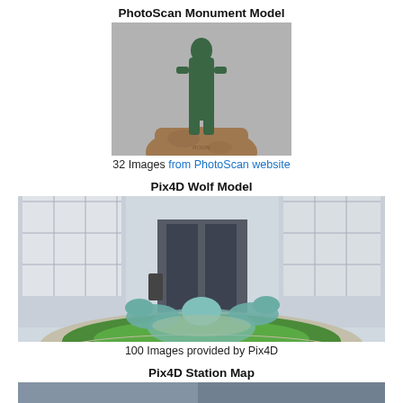PhotoScan Monument Model
[Figure (photo): 3D photogrammetry model of a standing human figure sculpture on a large rock pedestal, gray background]
32 Images from PhotoScan website
Pix4D Wolf Model
[Figure (photo): Photograph of a wolf sculpture group on a circular grass platform in front of Richard A. Gleeson Library - Geschke Center building]
100 Images provided by Pix4D
Pix4D Station Map
[Figure (photo): Partial view of a station map image, cropped at bottom of page]